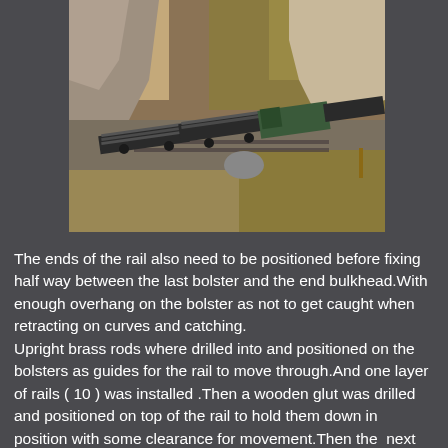[Figure (photo): Aerial/overhead photograph of a model railway layout showing a train with flatbed wagons loaded with steel rails, traveling through a scenic cutting with rocks and grass embankments.]
The ends of the rail also need to be positioned before fixing half way between the last bolster and the end bulkhead.With enough overhang on the bolster as not to get caught when retracting on curves and catching.
Upright brass rods where drilled into and positioned on the bolsters as guides for the rail to move through.And one layer of rails ( 10 ) was installed .Then a wooden glut was drilled and positioned on top of the rail to hold them down in position with some clearance for movement.Then the  next layer of rail added.As this was the last layer no glut was used .But 2 chains per wagon  (27 links per inch ) where used to